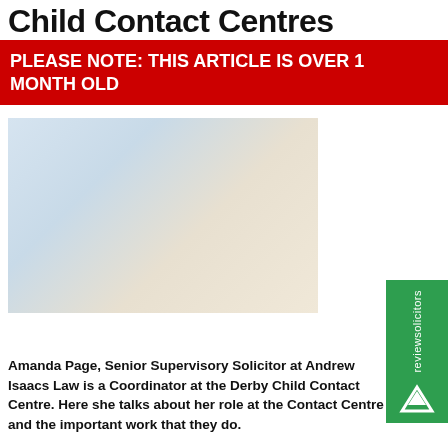Child Contact Centres
PLEASE NOTE: THIS ARTICLE IS OVER 1 MONTH OLD
[Figure (photo): A woman and young child playing with colorful building blocks on a table indoors]
Amanda Page, Senior Supervisory Solicitor at Andrew Isaacs Law is a Coordinator at the Derby Child Contact Centre. Here she talks about her role at the Contact Centre and the important work that they do.